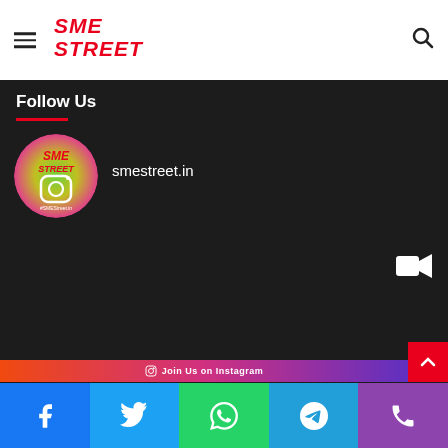SME STREET (logo) + hamburger menu + search icon
Follow Us
[Figure (logo): SME Street circular Instagram profile logo with gradient background (green to pink), showing SME STREET text and Instagram camera icon]
smestreet.in
[Figure (other): Video camera icon (white) on dark background]
[Figure (infographic): Join Us on Instagram banner with gradient (orange to purple)]
Social share bar: Facebook, Twitter, WhatsApp, Telegram, Phone